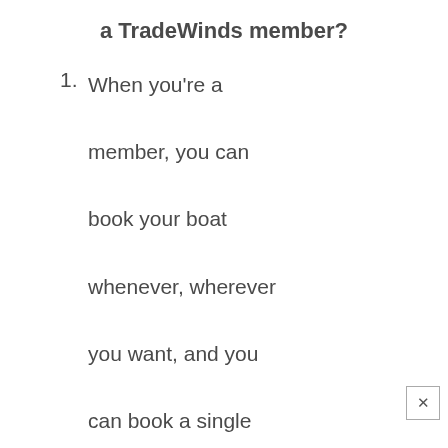a TradeWinds member?
1. When you're a member, you can book your boat whenever, wherever you want, and you can book a single cabin or entire boat.
2. You get to choose from locations like Fiji, French Polynesia, Belize, Greece, and